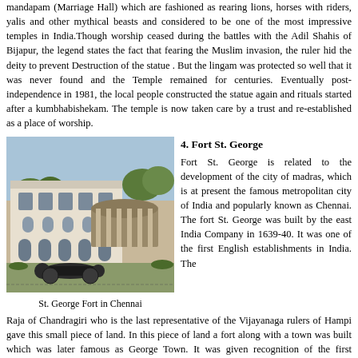mandapam (Marriage Hall) which are fashioned as rearing lions, horses with riders, yalis and other mythical beasts and considered to be one of the most impressive temples in India. Though worship ceased during the battles with the Adil Shahis of Bijapur, the legend states the fact that fearing the Muslim invasion, the ruler hid the deity to prevent Destruction of the statue . But the lingam was protected so well that it was never found and the Temple remained for centuries. Eventually post-independence in 1981, the local people constructed the statue again and rituals started after a kumbhabishekam. The temple is now taken care by a trust and re-established as a place of worship.
[Figure (photo): Photo of St. George Fort in Chennai showing a colonial white building with arched windows and a circular stone pavilion structure with a cannon in the foreground]
St. George Fort in Chennai
4. Fort St. George
Fort St. George is related to the development of the city of madras, which is at present the famous metropolitan city of India and popularly known as Chennai. The fort St. George was built by the east India Company in 1639-40. It was one of the first English establishments in India. The Raja of Chandragiri who is the last representative of the Vijayanaga rulers of Hampi gave this small piece of land. In this piece of land a fort along with a town was built which was later famous as George Town. It was given recognition of the first municipal charter in 1688 by James- and so it is the oldest municipal corporation and the ruling communit